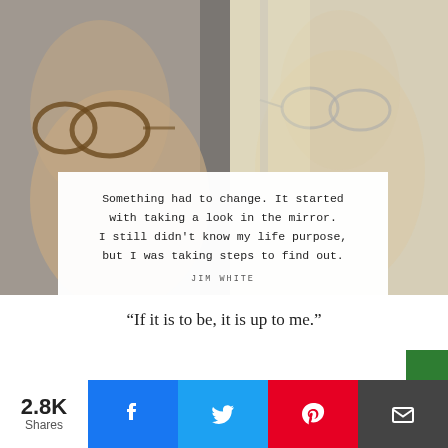[Figure (photo): Two people wearing glasses facing a window/mirror, side by side, one on the left in focus with tortoiseshell frames, one on the right in softer light with thin frames]
Something had to change. It started with taking a look in the mirror. I still didn't know my life purpose, but I was taking steps to find out.

JIM WHITE
“If it is to be, it is up to me.”
2.8K Shares  [Facebook] [Twitter] [Pinterest] [Email]